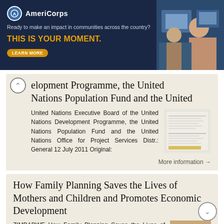[Figure (screenshot): AmeriCorps advertisement banner with dark blue background, logo, tagline 'Ready to make an impact in communities across the country? THIS IS YOUR MOMENT.' with LEARN MORE button and a photo of people at computers on the right.]
elopment Programme, the United Nations Population Fund and the United
United Nations Executive Board of the United Nations Development Programme, the United Nations Population Fund and the United Nations Office for Project Services Distr.: General 12 July 2011 Original:
More information →
How Family Planning Saves the Lives of Mothers and Children and Promotes Economic Development
ZIMBABWE How Family Planning Saves the Lives of Mothers and Children and Promotes Economic Development Ministry of Health and Child Care, Zimbabwe National Family